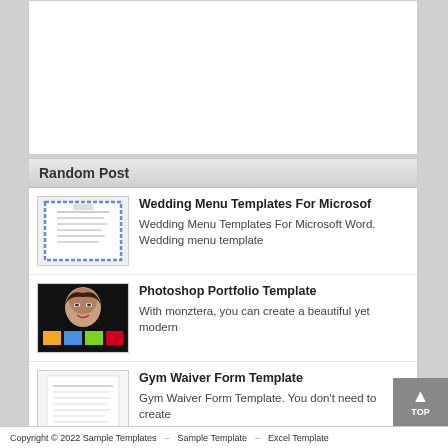[Figure (other): Advertisement/blank white box at top of page]
Random Post
[Figure (other): Thumbnail image of Wedding Menu Templates document with blue border]
Wedding Menu Templates For Microsof
Wedding Menu Templates For Microsoft Word. Wedding menu template
[Figure (other): Thumbnail image of Photoshop Portfolio Template - dark background with a woman's face]
Photoshop Portfolio Template
With monztera, you can create a beautiful yet modern
[Figure (other): Thumbnail image of Gym Waiver Form Template document]
Gym Waiver Form Template
Gym Waiver Form Template. You don't need to create
[Figure (other): Thumbnail image of Sample Child Support Agreement Letter document]
Sample Child Support Agreement Lett
The last thing anyone wants to think about is
Copyright © 2022 Sample Templates   Sample Template   Excel Template